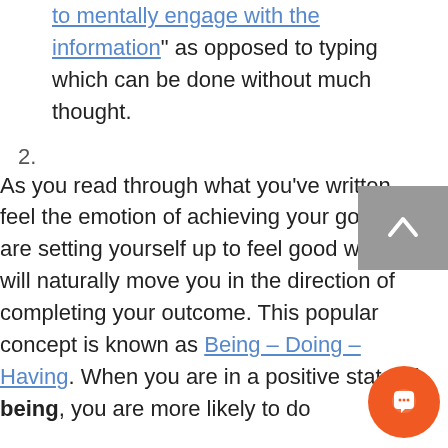to mentally engage with the information" as opposed to typing which can be done without much thought.
2. As you read through what you've written, feel the emotion of achieving your goal. You are setting yourself up to feel good which will naturally move you in the direction of completing your outcome. This popular concept is known as Being – Doing – Having. When you are in a positive state of being, you are more likely to do